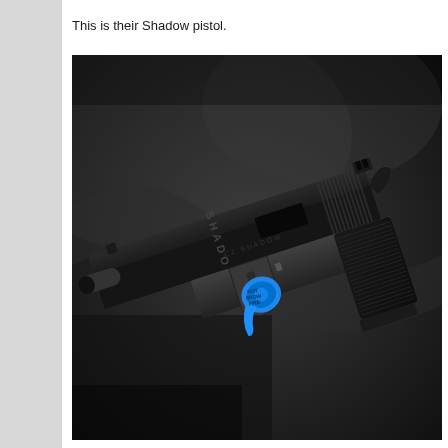This is their Shadow pistol.
[Figure (photo): Close-up photograph of a black semi-automatic pistol (CZ Shadow) lying on dark fabric. The slide has 'SHADOW' engraved on it. A blue chamber flag/safety indicator is inserted in the trigger guard area. The pistol has a textured grip and is shown at an angle revealing the slide, barrel, and grip.]